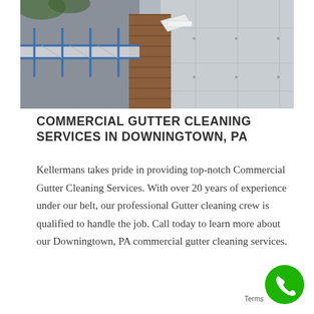[Figure (photo): Photo of commercial building exterior with scaffolding/walkway and gutters being cleaned]
COMMERCIAL GUTTER CLEANING SERVICES IN DOWNINGTOWN, PA
Kellermans takes pride in providing top-notch Commercial Gutter Cleaning Services. With over 20 years of experience under our belt, our professional Gutter cleaning crew is qualified to handle the job. Call today to learn more about our Downingtown, PA commercial gutter cleaning services.